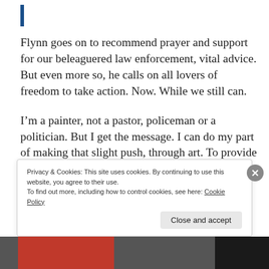Flynn goes on to recommend prayer and support for our beleaguered law enforcement, vital advice. But even more so, he calls on all lovers of freedom to take action. Now. While we still can.
I’m a painter, not a pastor, policeman or a politician. But I get the message. I can do my part of making that slight push, through art. To provide an alternative to the institutional dreck
Privacy & Cookies: This site uses cookies. By continuing to use this website, you agree to their use.
To find out more, including how to control cookies, see here: Cookie Policy